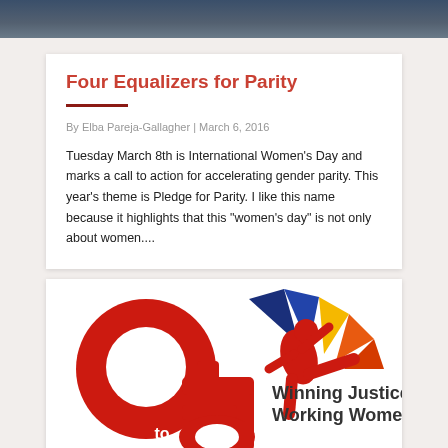[Figure (photo): Top strip image, appears to be a partial photo with dark blue/navy tones]
Four Equalizers for Parity
By Elba Pareja-Gallagher | March 6, 2016
Tuesday March 8th is International Women’s Day and marks a call to action for accelerating gender parity. This year’s theme is Pledge for Parity. I like this name because it highlights that this “women’s day” is not only about women....
[Figure (logo): 9 to 5 logo: large red stylized '9 to 5' numerals with a colorful sunburst (blue, yellow, orange rays) and a red female figure kicking. Text reads 'Winning Justice for Working Women']